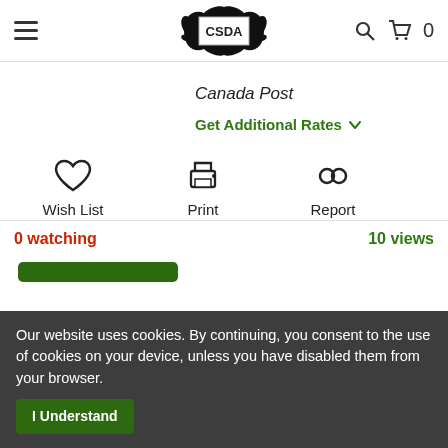CSDA website navigation bar with hamburger menu, CSDA logo, search icon, cart icon with 0 items
Canada Post
Get Additional Rates
[Figure (infographic): Three action icons: Wish List (heart icon), Print (printer icon), Report (voicemail/chain icon)]
0 watching
10 views
Our website uses cookies. By continuing, you consent to the use of cookies on your device, unless you have disabled them from your browser.
I Understand